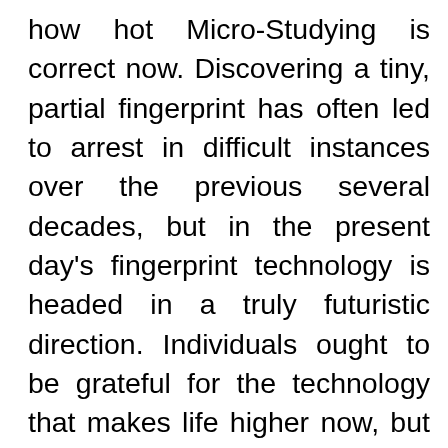how hot Micro-Studying is correct now. Discovering a tiny, partial fingerprint has often led to arrest in difficult instances over the previous several decades, but in the present day's fingerprint technology is headed in a truly futuristic direction. Individuals ought to be grateful for the technology that makes life higher now, but they need to additionally notice that the world and people have functioned lengthy before anyone came up with it. As I mentioned, I understand exactly what I stated. Lastly, technology tends to have extra of an impact because it